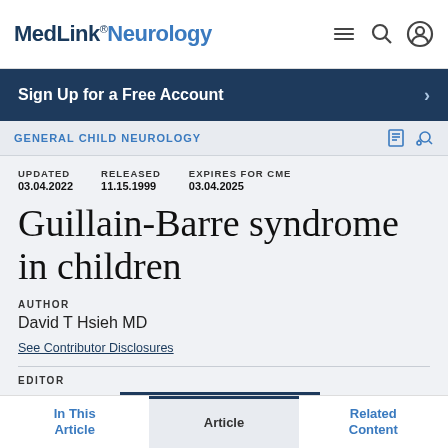MedLink® Neurology
Sign Up for a Free Account
GENERAL CHILD NEUROLOGY
UPDATED 03.04.2022  RELEASED 11.15.1999  EXPIRES FOR CME 03.04.2025
Guillain-Barre syndrome in children
AUTHOR
David T Hsieh MD
See Contributor Disclosures
EDITOR
In This Article  Article  Related Content